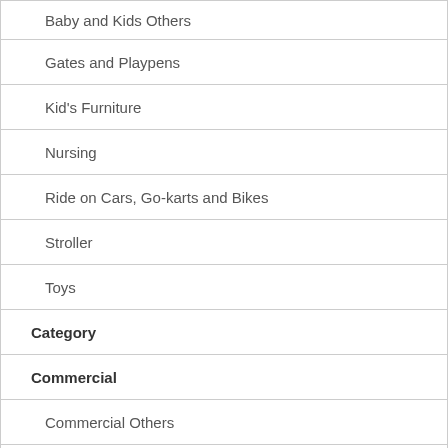| Baby and Kids Others |
| Gates and Playpens |
| Kid's Furniture |
| Nursing |
| Ride on Cars, Go-karts and Bikes |
| Stroller |
| Toys |
| Category |
| Commercial |
| Commercial Others |
| Mannequins |
| Packaging |